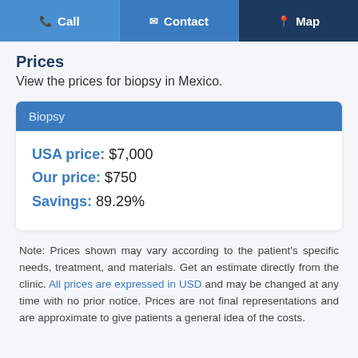Call  Contact  Map
Prices
View the prices for biopsy in Mexico.
| Biopsy |
| --- |
| USA price: $7,000 |
| Our price: $750 |
| Savings: 89.29% |
Note: Prices shown may vary according to the patient's specific needs, treatment, and materials. Get an estimate directly from the clinic. All prices are expressed in USD and may be changed at any time with no prior notice. Prices are not final representations and are approximate to give patients a general idea of the costs.